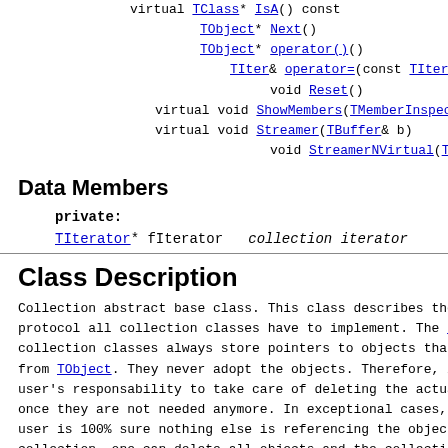virtual TClass* IsA() const
        TObject* Next()
        TObject* operator()()
          TIter& operator=(const TIter& rhs)
            void Reset()
  virtual void ShowMembers(TMemberInspector& i
  virtual void Streamer(TBuffer& b)
            void StreamerNVirtual(TBuffer& b)
Data Members
private:
TIterator* fIterator   collection iterator
Class Description
Collection abstract base class. This class describes the
protocol all collection classes have to implement. The R
collection classes always store pointers to objects that
from TObject. They never adopt the objects. Therefore, i
user's responsability to take care of deleting the actua
once they are not needed anymore. In exceptional cases,
user is 100% sure nothing else is referencing the object
collection, one can delete all objects and the collectio